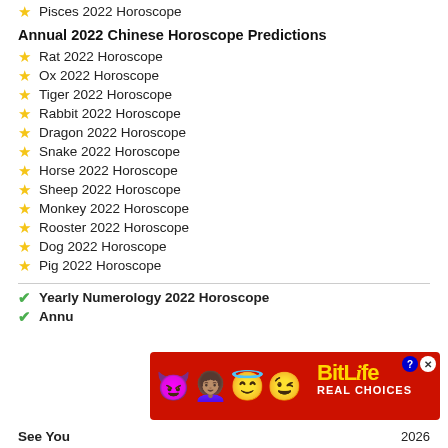Pisces 2022 Horoscope
Annual 2022 Chinese Horoscope Predictions
Rat 2022 Horoscope
Ox 2022 Horoscope
Tiger 2022 Horoscope
Rabbit 2022 Horoscope
Dragon 2022 Horoscope
Snake 2022 Horoscope
Horse 2022 Horoscope
Sheep 2022 Horoscope
Monkey 2022 Horoscope
Rooster 2022 Horoscope
Dog 2022 Horoscope
Pig 2022 Horoscope
Yearly Numerology 2022 Horoscope
Annual...
See You...2026
[Figure (screenshot): BitLife advertisement banner with colorful emojis (devil, person, angel, winking face, sperm) on red background with gold BitLife logo text and 'REAL CHOICES' subtitle, with help and close buttons]